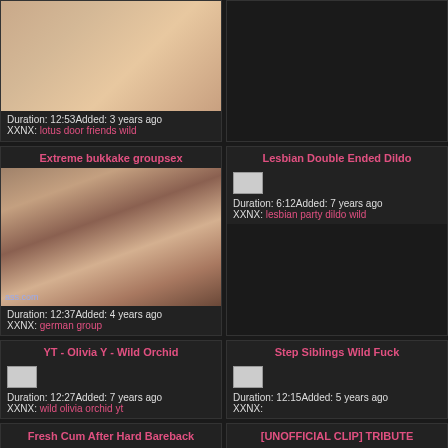[Figure (photo): Video thumbnail - skin tones, blurry]
Duration: 12:53Added: 3 years ago
XXNX: lotus door friends wild
[Figure (photo): Right top card - dark/no thumbnail]
Extreme bukkake groupsex
[Figure (photo): Video thumbnail - close-up face]
Duration: 12:37Added: 4 years ago
XXNX: german group
Lesbian Double Ended Dildo
[Figure (photo): Small broken image icon]
Duration: 6:12Added: 7 years ago
XXNX: lesbian party dildo wild
YT - Olivia Y - Wild Orchid
[Figure (photo): Small broken image icon]
Duration: 12:27Added: 7 years ago
XXNX: wild olivia orchid yt
Step Siblings Wild Fuck
[Figure (photo): Small broken image icon]
Duration: 12:15Added: 5 years ago
XXNX:
Fresh Cum After Hard Bareback
[UNOFFICIAL CLIP] TRIBUTE